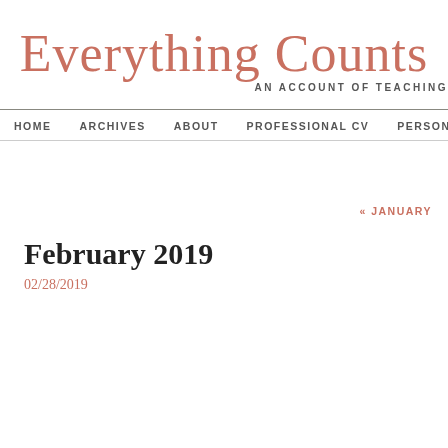Everything Counts
AN ACCOUNT OF TEACHING
HOME   ARCHIVES   ABOUT   PROFESSIONAL CV   PERSONAL
« JANUARY
February 2019
02/28/2019